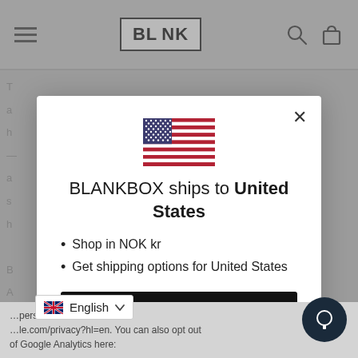BL_NK
[Figure (screenshot): BLANKBOX shipping country modal dialog showing US flag, text 'BLANKBOX ships to United States', bullet points for NOK kr currency and US shipping options, a black Shop now button, and a Change shipping country link]
BLANKBOX ships to United States
Shop in NOK kr
Get shipping options for United States
Shop now
Change shipping country
personal information here: le.com/privacy?hl=en. You can also opt out of Google Analytics here: